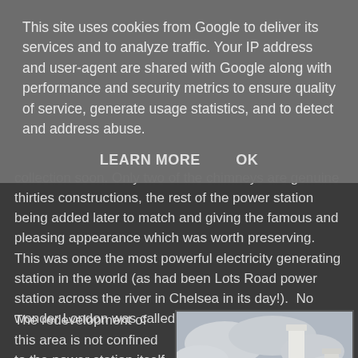This site uses cookies from Google to deliver its services and to analyze traffic. Your IP address and user-agent are shared with Google along with performance and security metrics to ensure quality of service, generate usage statistics, and to detect and address abuse.
LEARN MORE    OK
collection soon. Only two of the chimneys are genuine thirties constructions, the rest of the power station being added later to match and giving the famous and pleasing appearance which was worth preserving. This was once the most powerful electricity generating station in the world (as had been Lots Road power station across the river in Chelsea in its day!).  No wonder London was called "The Smoke"!
The redevelopment of this area is not confined to the power station itself, but also the railway arches under the lines from Victoria...
[Figure (photo): Photo of Battersea Power Station showing chimneys against a cloudy sky]